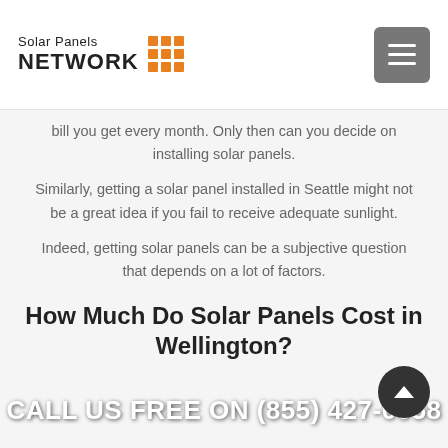Solar Panels NETWORK
bill you get every month. Only then can you decide on installing solar panels.
Similarly, getting a solar panel installed in Seattle might not be a great idea if you fail to receive adequate sunlight.
Indeed, getting solar panels can be a subjective question that depends on a lot of factors.
How Much Do Solar Panels Cost in Wellington?
[Figure (photo): Solar panels installed on an orange tiled roof against a blue sky, with bright sunlight reflecting off the panels.]
CALL US FREE ON (855) 427-0058
The cost of installing